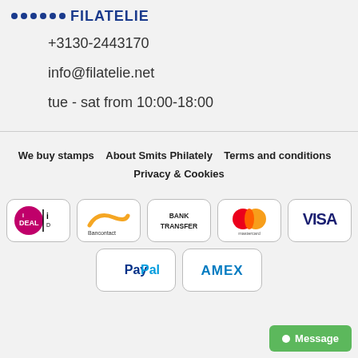[Figure (logo): Partial logo with blue dots and text visible at top]
+3130-2443170
info@filatelie.net
tue - sat from 10:00-18:00
We buy stamps    About Smits Philately    Terms and conditions    Privacy & Cookies
[Figure (logo): iDEAL payment logo - pink i circle with DEAL text]
[Figure (logo): Bancontact payment logo - yellow/orange swoosh with Bancontact text]
[Figure (logo): BANK TRANSFER text badge]
[Figure (logo): Mastercard payment logo - red and yellow overlapping circles]
[Figure (logo): VISA payment logo - blue VISA text]
[Figure (logo): PayPal payment logo - blue PayPal text]
[Figure (logo): AMEX payment logo - blue AMEX text]
Message